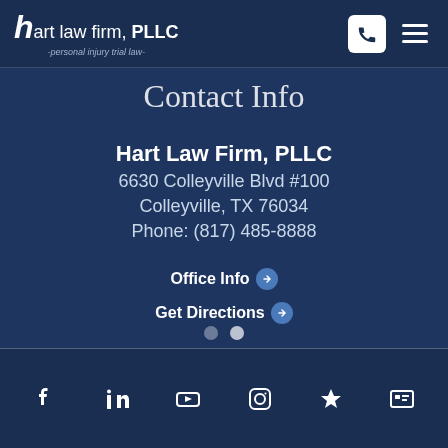hart law firm, PLLC -personal injury trial law-
Contact Info
Hart Law Firm, PLLC
6630 Colleyville Blvd #100
Colleyville, TX 76034
Phone: (817) 485-8888
Office Info
Get Directions
Social media icons: Facebook, LinkedIn, YouTube, Instagram, and others